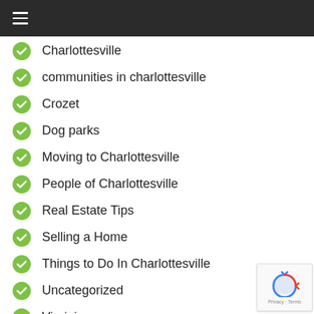≡
Charlottesville
communities in charlottesville
Crozet
Dog parks
Moving to Charlottesville
People of Charlottesville
Real Estate Tips
Selling a Home
Things to Do In Charlottesville
Uncategorized
Virginia
RECENT POSTS
We are not here …